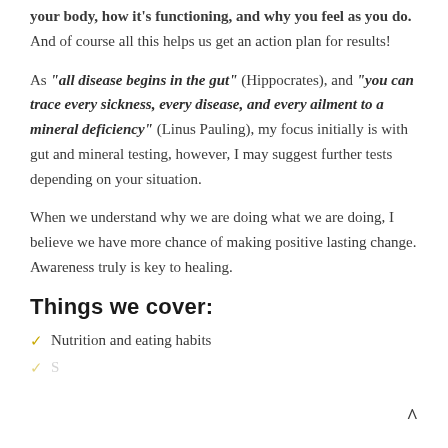your body, how it's functioning, and why you feel as you do. And of course all this helps us get an action plan for results!
As "all disease begins in the gut" (Hippocrates), and "you can trace every sickness, every disease, and every ailment to a mineral deficiency" (Linus Pauling), my focus initially is with gut and mineral testing, however, I may suggest further tests depending on your situation.
When we understand why we are doing what we are doing, I believe we have more chance of making positive lasting change. Awareness truly is key to healing.
Things we cover:
Nutrition and eating habits